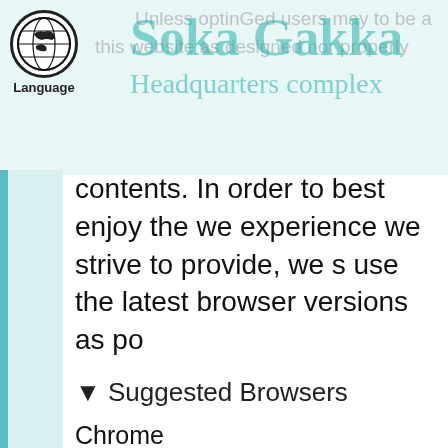[Figure (logo): Globe/language icon with 'Language' label below]
Soka Gakka Headquarters complex
Unless optinGed users may to be a this website as designed nor properly contents. In order to best enjoy the we experience we strive to provide, we s use the latest browser versions as po
▼ Suggested Browsers
Chrome    □□□□PC□□□□□Android OS5.0□□
Firefox    □□□
Edge    □□□
Safari    □□□□iOS10□□□